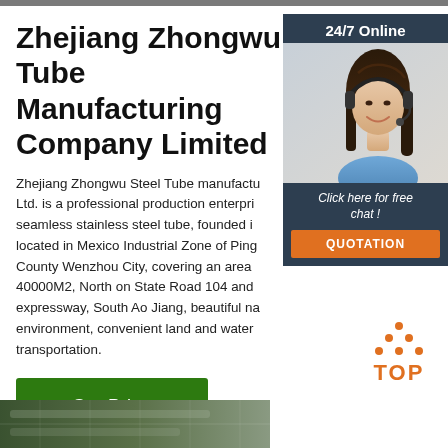Zhejiang Zhongwu Tube Manufacturing Company Limited
Zhejiang Zhongwu Steel Tube manufactu… Ltd. is a professional production enterpri… seamless stainless steel tube, founded i… located in Mexico Industrial Zone of Ping… County Wenzhou City, covering an area… 40000M2, North on State Road 104 and… expressway, South Ao Jiang, beautiful na… environment, convenient land and water… transportation.
[Figure (photo): Customer service representative (woman with headset) with 24/7 Online widget, chat CTA, and QUOTATION button]
[Figure (infographic): TOP logo with orange dots arranged in triangle above orange text TOP]
Get Price
[Figure (photo): Bottom strip showing industrial/factory scene]